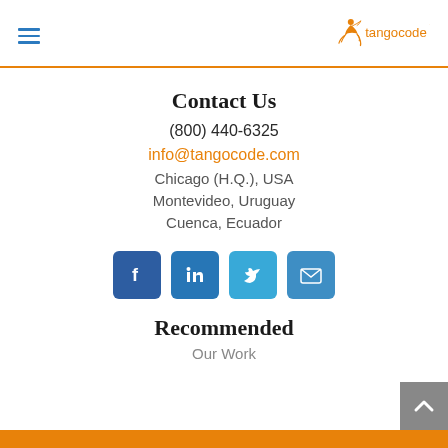tangocode
Contact Us
(800) 440-6325
info@tangocode.com
Chicago (H.Q.), USA
Montevideo, Uruguay
Cuenca, Ecuador
[Figure (infographic): Social media icons: Facebook, LinkedIn, Twitter, Email]
Recommended
Our Work